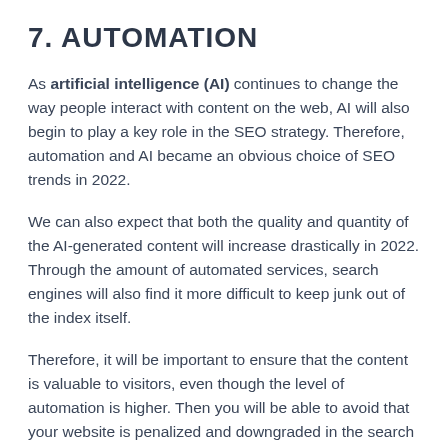7. AUTOMATION
As artificial intelligence (AI) continues to change the way people interact with content on the web, AI will also begin to play a key role in the SEO strategy. Therefore, automation and AI became an obvious choice of SEO trends in 2022.
We can also expect that both the quality and quantity of the AI-generated content will increase drastically in 2022. Through the amount of automated services, search engines will also find it more difficult to keep junk out of the index itself.
Therefore, it will be important to ensure that the content is valuable to visitors, even though the level of automation is higher. Then you will be able to avoid that your website is penalized and downgraded in the search engine rankings.